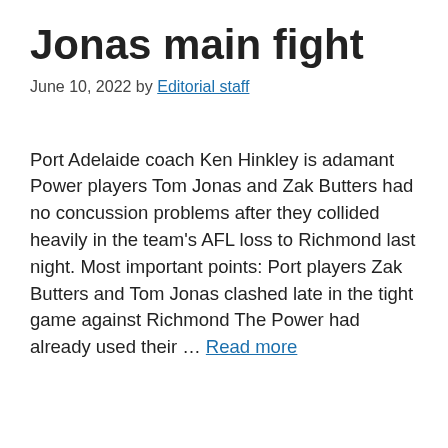Jonas main fight
June 10, 2022 by Editorial staff
Port Adelaide coach Ken Hinkley is adamant Power players Tom Jonas and Zak Butters had no concussion problems after they collided heavily in the team's AFL loss to Richmond last night. Most important points: Port players Zak Butters and Tom Jonas clashed late in the tight game against Richmond The Power had already used their … Read more